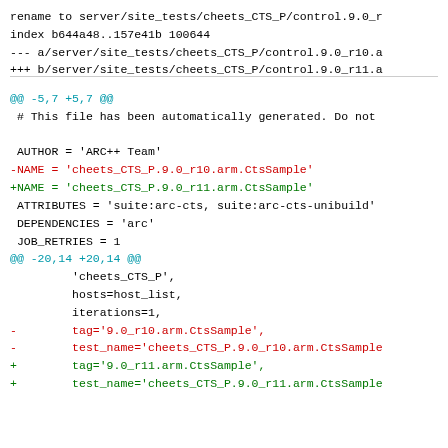rename to server/site_tests/cheets_CTS_P/control.9.0_r
index b644a48..157e41b 100644
--- a/server/site_tests/cheets_CTS_P/control.9.0_r10.a
+++ b/server/site_tests/cheets_CTS_P/control.9.0_r11.a
@@ -5,7 +5,7 @@
 # This file has been automatically generated. Do not

  AUTHOR = 'ARC++ Team'
-NAME = 'cheets_CTS_P.9.0_r10.arm.CtsSample'
+NAME = 'cheets_CTS_P.9.0_r11.arm.CtsSample'
  ATTRIBUTES = 'suite:arc-cts, suite:arc-cts-unibuild'
  DEPENDENCIES = 'arc'
  JOB_RETRIES = 1
@@ -20,14 +20,14 @@
          'cheets_CTS_P',
          hosts=host_list,
          iterations=1,
-         tag='9.0_r10.arm.CtsSample',
-         test_name='cheets_CTS_P.9.0_r10.arm.CtsSample
+         tag='9.0_r11.arm.CtsSample',
+         test_name='cheets_CTS_P.9.0_r11.arm.CtsSample